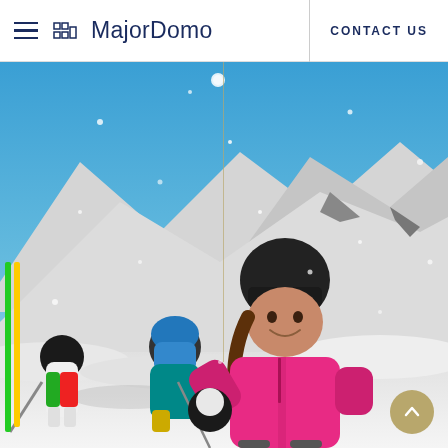MajorDomo — CONTACT US
[Figure (photo): Children playing in the snow on a ski slope. A girl in a bright pink jacket and black knit hat is throwing a snowball toward the camera, smiling. Behind her are other children in colorful ski gear, with snowy mountains and a bright blue sky in the background.]